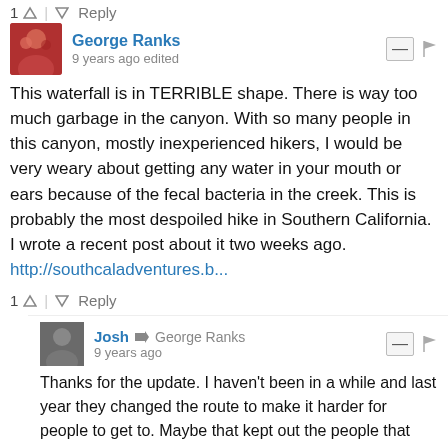1 ↑ | ↓ Reply
George Ranks
9 years ago edited
This waterfall is in TERRIBLE shape. There is way too much garbage in the canyon. With so many people in this canyon, mostly inexperienced hikers, I would be very weary about getting any water in your mouth or ears because of the fecal bacteria in the creek. This is probably the most despoiled hike in Southern California. I wrote a recent post about it two weeks ago. http://southcaladventures.b...
1 ↑ | ↓ Reply
Josh → George Ranks
9 years ago
Thanks for the update. I haven't been in a while and last year they changed the route to make it harder for people to get to. Maybe that kept out the people that actually clean up and stuff but didn't deter the ones that continue to trash and destroy it. Sad to hear.
↑ | ↓ Reply